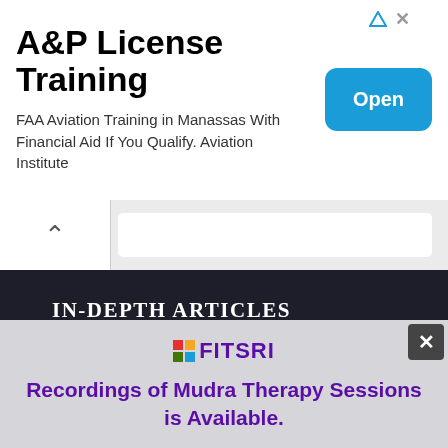[Figure (screenshot): Advertisement banner for A&P License Training with an Open button]
A&P License Training
FAA Aviation Training in Manassas With Financial Aid If You Qualify. Aviation Institute
[Figure (screenshot): Navigation bar with up chevron and search/input field]
IN-DEPTH ARTICLES
Yoga Mudras
Pranayama
[Figure (screenshot): Fitsri popup overlay with logo, heading and GET NOW button]
Recordings of Mudra Therapy Sessions is Available.